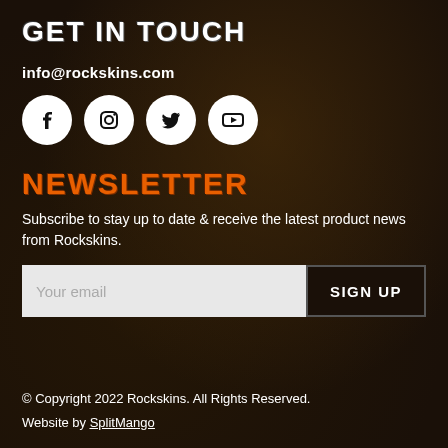GET IN TOUCH
info@rockskins.com
[Figure (infographic): Four social media icons (Facebook, Instagram, Twitter, YouTube) as white circles on a dark background]
NEWSLETTER
Subscribe to stay up to date & receive the latest product news from Rockskins.
[Figure (other): Email signup form with text input labeled 'Your email' and a SIGN UP button]
© Copyright 2022 Rockskins. All Rights Reserved. Website by SplitMango